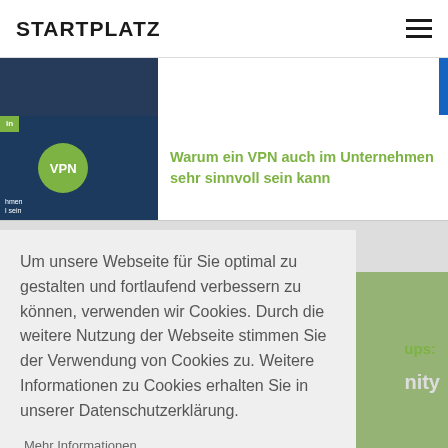STARTPLATZ
[Figure (screenshot): Partially visible article thumbnail at top]
Warum ein VPN auch im Unternehmen sehr sinnvoll sein kann
Um unsere Webseite für Sie optimal zu gestalten und fortlaufend verbessern zu können, verwenden wir Cookies. Durch die weitere Nutzung der Webseite stimmen Sie der Verwendung von Cookies zu. Weitere Informationen zu Cookies erhalten Sie in unserer Datenschutzerklärung.
Mehr Informationen
Akzeptieren
ups:
nity
Bereits ab 10 €/Monat!